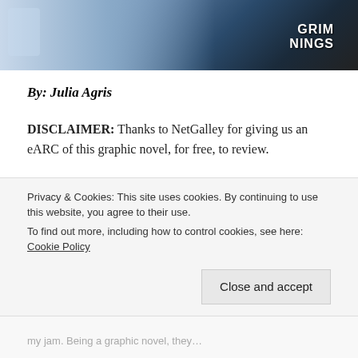[Figure (photo): Partial view of a comic book or graphic novel cover/image featuring 'GRIM [MO]RNINGS' text visible in top right, with dark blue and illustrated art style]
By: Julia Agris
DISCLAIMER: Thanks to NetGalley for giving us an eARC of this graphic novel, for free, to review.
I've been on a graphic novel kick lately and after one look at this cover… I knew that I had to pick it up! Cuteness and macabre humour is straight up
Privacy & Cookies: This site uses cookies. By continuing to use this website, you agree to their use.
To find out more, including how to control cookies, see here: Cookie Policy
Close and accept